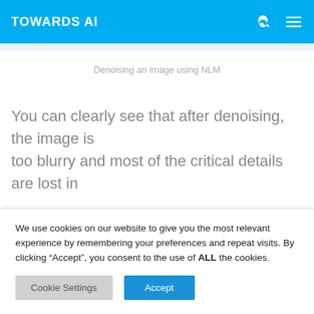TOWARDS AI
Denoising an image using NLM
You can clearly see that after denoising, the image is too blurry and most of the critical details are lost in
We use cookies on our website to give you the most relevant experience by remembering your preferences and repeat visits. By clicking “Accept”, you consent to the use of ALL the cookies.